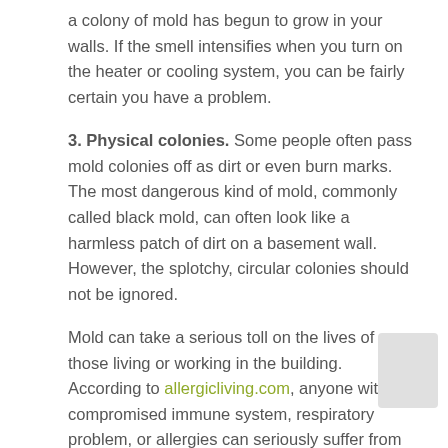a colony of mold has begun to grow in your walls. If the smell intensifies when you turn on the heater or cooling system, you can be fairly certain you have a problem.
3. Physical colonies. Some people often pass mold colonies off as dirt or even burn marks. The most dangerous kind of mold, commonly called black mold, can often look like a harmless patch of dirt on a basement wall. However, the splotchy, circular colonies should not be ignored.
Mold can take a serious toll on the lives of those living or working in the building. According to allergicliving.com, anyone with a compromised immune system, respiratory problem, or allergies can seriously suffer from the effects of mold growing inside a property. Even if you do not already have one of these problems, mold spores in the air can actually cause them.
Though our lungs are naturally designed to filter out mold